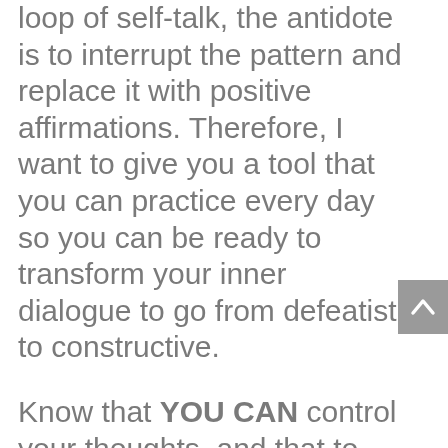loop of self-talk, the antidote is to interrupt the pattern and replace it with positive affirmations. Therefore, I want to give you a tool that you can practice every day so you can be ready to transform your inner dialogue to go from defeatist to constructive.

Know that YOU CAN control your thoughts, and that to break the habit of negative thinking you need to switch the channel in your brain to banish the negativity, and replace those thoughts